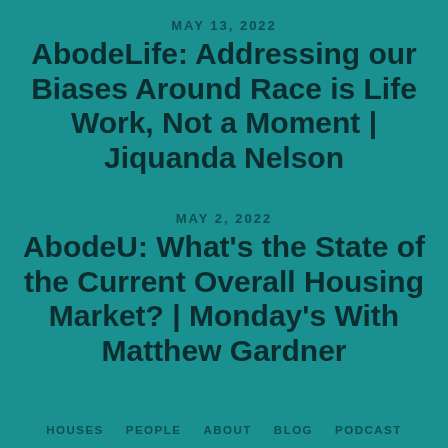MAY 13, 2022
AbodeLife: Addressing our Biases Around Race is Life Work, Not a Moment | Jiquanda Nelson
MAY 2, 2022
AbodeU: What's the State of the Current Overall Housing Market? | Monday's With Matthew Gardner
HOUSES  PEOPLE  ABOUT  BLOG  PODCAST